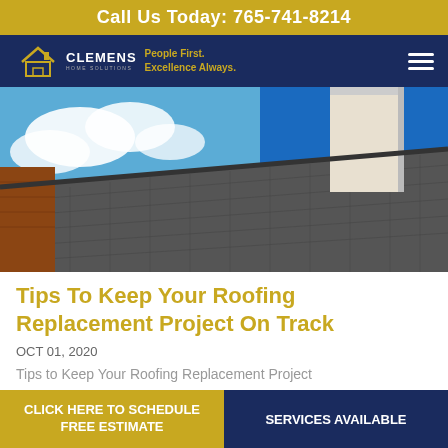Call Us Today: 765-741-8214
[Figure (logo): Clemens Home Solutions logo with house icon and tagline 'People First. Excellence Always.']
[Figure (photo): Close-up photo of a dark grey shingled roof with a white chimney against a blue sky with clouds]
Tips To Keep Your Roofing Replacement Project On Track
OCT 01, 2020
Tips to Keep Your Roofing Replacement Project
CLICK HERE TO SCHEDULE FREE ESTIMATE
SERVICES AVAILABLE